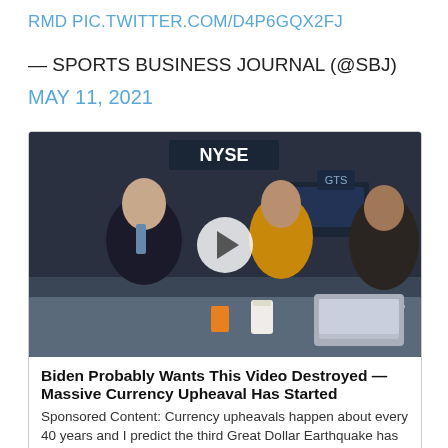RMD PIC.TWITTER.COM/D4P6GQX2FJ
— SPORTS BUSINESS JOURNAL (@SBJ)
MAY 11, 2021
[Figure (screenshot): Video thumbnail showing two people being interviewed on the NYSE trading floor, with a play button overlay in the center. Text 'NYSE' and 'YOR' visible in background.]
Biden Probably Wants This Video Destroyed — Massive Currency Upheaval Has Started
Sponsored Content: Currency upheavals happen about every 40 years and I predict the third Great Dollar Earthquake has